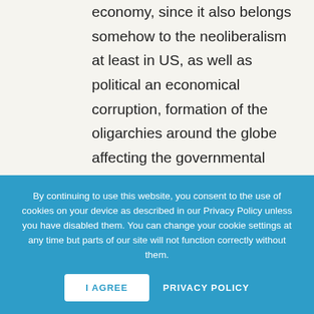economy, since it also belongs somehow to the neoliberalism at least in US, as well as political an economical corruption, formation of the oligarchies around the globe affecting the governmental decisions in a biased manner, bringing uncompleted peoples through so called networking and recommendations to the Governments , etc. and of course also the poverty and inequity as the result of this. Just to take
By continuing to use this website, you consent to the use of cookies on your device as described in our Privacy Policy unless you have disabled them. You can change your cookie settings at any time but parts of our site will not function correctly without them.
I AGREE   PRIVACY POLICY